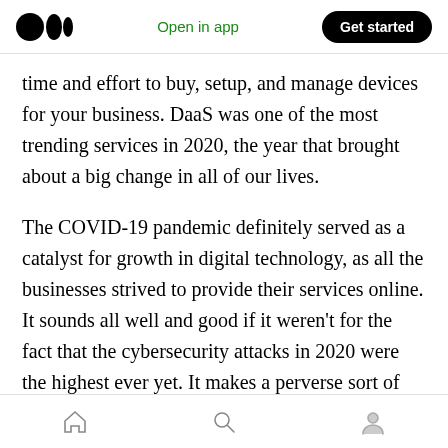Medium logo | Open in app | Get started
time and effort to buy, setup, and manage devices for your business. DaaS was one of the most trending services in 2020, the year that brought about a big change in all of our lives.
The COVID-19 pandemic definitely served as a catalyst for growth in digital technology, as all the businesses strived to provide their services online. It sounds all well and good if it weren't for the fact that the cybersecurity attacks in 2020 were the highest ever yet. It makes a perverse sort of sense. The spread of digital technology
Home | Search | Profile